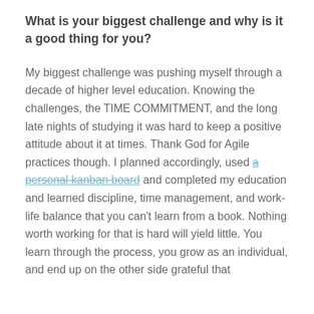What is your biggest challenge and why is it a good thing for you?
My biggest challenge was pushing myself through a decade of higher level education. Knowing the challenges, the TIME COMMITMENT, and the long late nights of studying it was hard to keep a positive attitude about it at times. Thank God for Agile practices though. I planned accordingly, used a personal kanban board and completed my education and learned discipline, time management, and work-life balance that you can't learn from a book. Nothing worth working for that is hard will yield little. You learn through the process, you grow as an individual, and end up on the other side grateful that